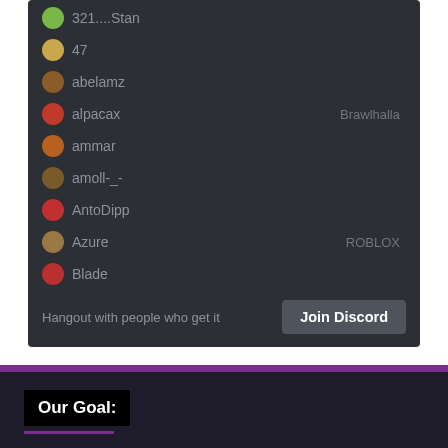[Figure (screenshot): Discord widget showing online members list with usernames: 321....Stan, 47, abelamz, alpacax (playing Brawlhalla), ammar, amoll-_-, AntoDipp, Azure (playing ROBLOX), Blade. Bottom shows 'Hangout with people who get it' and a 'Join Discord' button.]
Our Goal:
No Doubt everyone loves free games of any platform. Steamrip is arena for free games, it allows you to download all your favorite games completely free. All Games are Pre-Installed, which means you don't